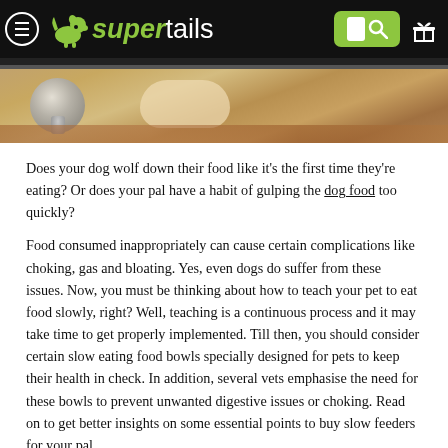supertails navigation header with menu, logo, search and gift icons
[Figure (photo): Close-up photo of a dog's paw next to a metal dog food bowl on a wooden floor, seen from low angle. Dark bar at top.]
Does your dog wolf down their food like it's the first time they're eating? Or does your pal have a habit of gulping the dog food too quickly?
Food consumed inappropriately can cause certain complications like choking, gas and bloating. Yes, even dogs do suffer from these issues. Now, you must be thinking about how to teach your pet to eat food slowly, right? Well, teaching is a continuous process and it may take time to get properly implemented. Till then, you should consider certain slow eating food bowls specially designed for pets to keep their health in check. In addition, several vets emphasise the need for these bowls to prevent unwanted digestive issues or choking. Read on to get better insights on some essential points to buy slow feeders for your pal.